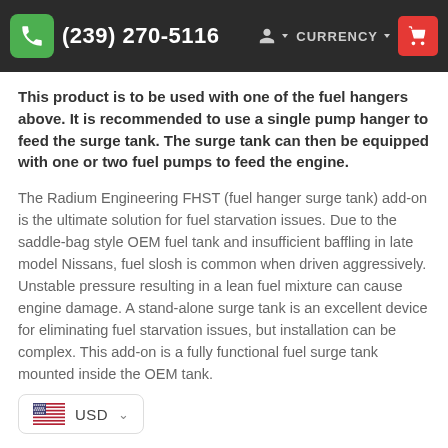(239) 270-5116  CURRENCY
This product is to be used with one of the fuel hangers above. It is recommended to use a single pump hanger to feed the surge tank. The surge tank can then be equipped with one or two fuel pumps to feed the engine.
The Radium Engineering FHST (fuel hanger surge tank) add-on is the ultimate solution for fuel starvation issues. Due to the saddle-bag style OEM fuel tank and insufficient baffling in late model Nissans, fuel slosh is common when driven aggressively. Unstable pressure resulting in a lean fuel mixture can cause engine damage. A stand-alone surge tank is an excellent device for eliminating fuel starvation issues, but installation can be complex. This add-on is a fully functional fuel surge tank mounted inside the OEM tank.
USD